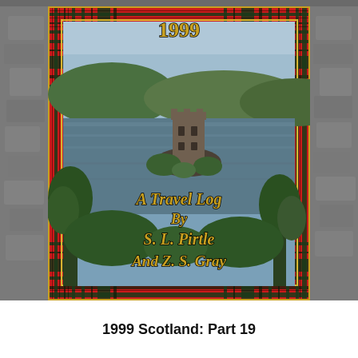[Figure (illustration): Book cover for a 1999 Scotland travel log. Features a tartan (red plaid) border frame surrounding a photograph of a Scottish castle on a small island in a loch, with green hills in the background and trees in the foreground. Overlaid on the photo in gold Celtic-style lettering: '1999', 'A Travel Log', 'By', 'S. L. Pirtle', 'And Z. S. Gray'. The background behind the book cover shows gray stone texture.]
1999 Scotland: Part 19